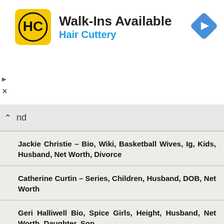[Figure (logo): Hair Cuttery advertisement banner with logo (HC in black circle on yellow background), title 'Walk-Ins Available', subtitle 'Hair Cuttery', and a blue navigation diamond icon.]
nd
Jackie Christie – Bio, Wiki, Basketball Wives, Ig, Kids, Husband, Net Worth, Divorce
Catherine Curtin – Series, Children, Husband, DOB, Net Worth
Geri Halliwell Bio, Spice Girls, Height, Husband, Net Worth, Daughter, Son
Michelle Khare – Parents, Sister, Boyfriend, Husband, Ethnicity
Leslie Jones – Wiki, Bio, Height, SNL, Comedian, Boyfriend, Net Worth, Family
Leonard Kunz – Wiki, Girlfriend, Siblings, Ethnicity, Net Worth